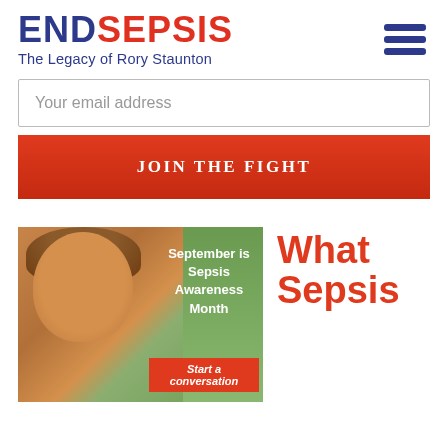END SEPSIS — The Legacy of Rory Staunton
Your email address
JOIN THE FIGHT
[Figure (photo): Photo of a young smiling boy with reddish-brown hair, with a green background on the right side. Overlaid text reads: 'September is Sepsis Awareness Month' and a red button 'Start a conversation']
What Sepsis